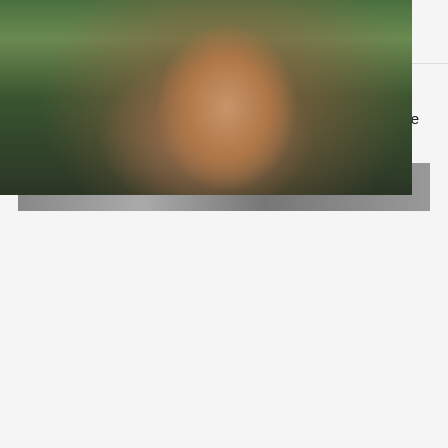PREVIOUS STORY
Australian Teen Invents Biodegradable Plastic Made From Prawn Shells
FRESH FROM OUR PRESS
[Figure (photo): Close-up portrait of a young woman with brown hair, looking slightly upward, smiling gently, against a blurred green outdoor background.]
How a Determined Dad Roger Kemp Solved and Caught the Culprit Responsible for His Daughter's Demise
[Figure (photo): Partial view of a second article's photo, cropped at the bottom of the page, appears to be a grayscale or muted image.]